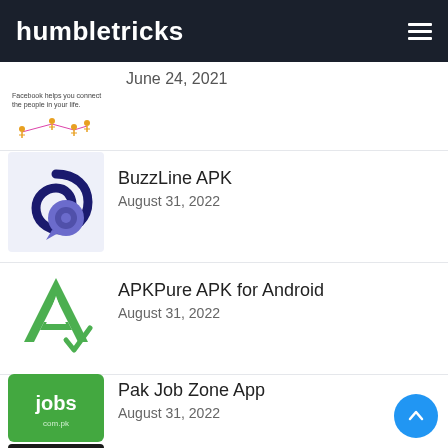humbletricks
June 24, 2021
BuzzLine APK
August 31, 2022
APKPure APK for Android
August 31, 2022
Pak Job Zone App
August 31, 2022
GHD Sports NOT working, Why? – Watch IPL
September 19, 2021